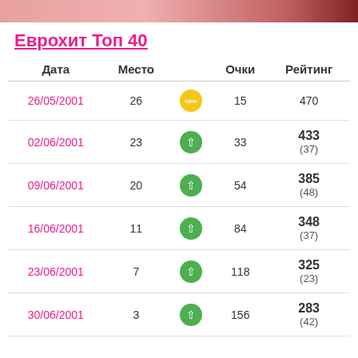Еврохит Топ 40
| Дата | Место |  | Очки | Рейтинг |
| --- | --- | --- | --- | --- |
| 26/05/2001 | 26 | new | 15 | 470 |
| 02/06/2001 | 23 | ↑ | 33 | 433 (37) |
| 09/06/2001 | 20 | ↑ | 54 | 385 (48) |
| 16/06/2001 | 11 | ↑ | 84 | 348 (37) |
| 23/06/2001 | 7 | ↑ | 118 | 325 (23) |
| 30/06/2001 | 3 | ↑ | 156 | 283 (42) |